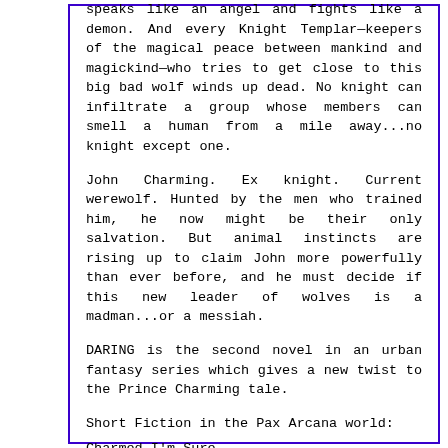speaks like an angel and fights like a demon. And every Knight Templar—keepers of the magical peace between mankind and magickind—who tries to get close to this big bad wolf winds up dead. No knight can infiltrate a group whose members can smell a human from a mile away...no knight except one.
John Charming. Ex knight. Current werewolf. Hunted by the men who trained him, he now might be their only salvation. But animal instincts are rising up to claim John more powerfully than ever before, and he must decide if this new leader of wolves is a madman...or a messiah.
DARING is the second novel in an urban fantasy series which gives a new twist to the Prince Charming tale.
Short Fiction in the Pax Arcana world:
Charmed I'm Sure
Don't Go Chasing Waterfalls